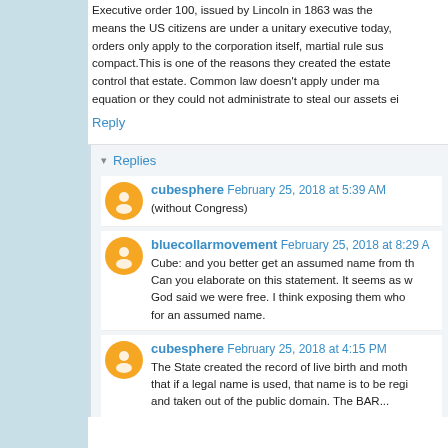Executive order 100, issued by Lincoln in 1863 was the means the US citizens are under a unitary executive today, orders only apply to the corporation itself, martial rule sus compact.This is one of the reasons they created the estate control that estate. Common law doesn't apply under ma equation or they could not administrate to steal our assets ei
Reply
Replies
cubesphere  February 25, 2018 at 5:39 AM
(without Congress)
bluecollarmovement  February 25, 2018 at 8:29 A
Cube: and you better get an assumed name from th Can you elaborate on this statement. It seems as w God said we were free. I think exposing them who for an assumed name.
cubesphere  February 25, 2018 at 4:15 PM
The State created the record of live birth and moth that if a legal name is used, that name is to be regi and taken out of the public domain. The BAR...